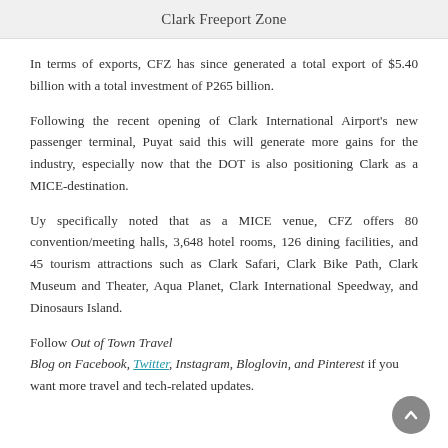Clark Freeport Zone
In terms of exports, CFZ has since generated a total export of $5.40 billion with a total investment of P265 billion.
Following the recent opening of Clark International Airport's new passenger terminal, Puyat said this will generate more gains for the industry, especially now that the DOT is also positioning Clark as a MICE-destination.
Uy specifically noted that as a MICE venue, CFZ offers 80 convention/meeting halls, 3,648 hotel rooms, 126 dining facilities, and 45 tourism attractions such as Clark Safari, Clark Bike Path, Clark Museum and Theater, Aqua Planet, Clark International Speedway, and Dinosaurs Island.
Follow Out of Town Travel Blog on Facebook, Twitter, Instagram, Bloglovin, and Pinterest if you want more travel and tech-related updates.